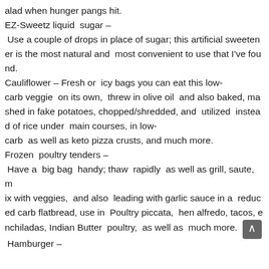alad when hunger pangs hit.
EZ-Sweetz liquid  sugar –
Use a couple of drops in place of sugar; this artificial sweetener is the most natural and  most convenient to use that I've found.
Cauliflower – Fresh or  icy bags you can eat this low-carb veggie  on its own,  threw in olive oil  and also baked, mashed in fake potatoes, chopped/shredded, and  utilized  instead of rice under  main courses, in low-carb  as well as keto pizza crusts, and much more.
Frozen  poultry tenders –
Have a  big bag  handy; thaw  rapidly  as well as grill, saute, mix with veggies,  and also  leading with garlic sauce in a  reduced carb flatbread, use in  Poultry piccata,  hen alfredo, tacos, enchiladas, Indian Butter  poultry,  as well as  much more.
Hamburger –